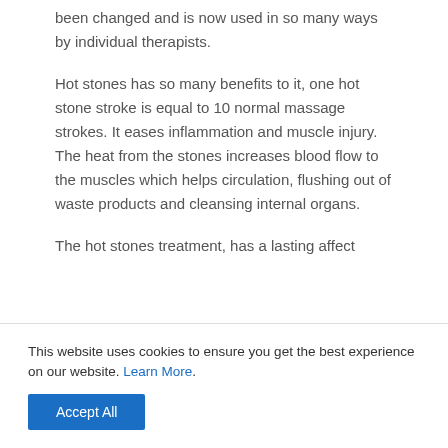been changed and is now used in so many ways by individual therapists.
Hot stones has so many benefits to it, one hot stone stroke is equal to 10 normal massage strokes. It eases inflammation and muscle injury. The heat from the stones increases blood flow to the muscles which helps circulation, flushing out of waste products and cleansing internal organs.
The hot stones treatment, has a lasting affect
This website uses cookies to ensure you get the best experience on our website. Learn More.
Accept All